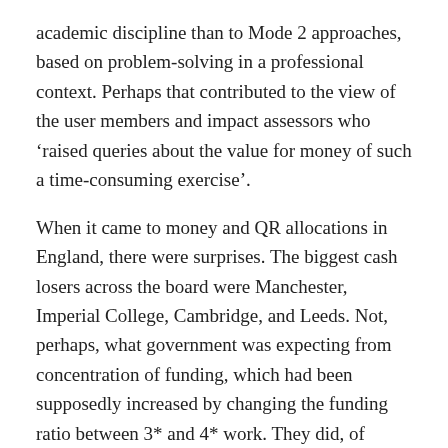academic discipline than to Mode 2 approaches, based on problem-solving in a professional context. Perhaps that contributed to the view of the user members and impact assessors who 'raised queries about the value for money of such a time-consuming exercise'.
When it came to money and QR allocations in England, there were surprises. The biggest cash losers across the board were Manchester, Imperial College, Cambridge, and Leeds. Not, perhaps, what government was expecting from concentration of funding, which had been supposedly increased by changing the funding ratio between 3* and 4* work. They did, of course, have more to lose, but seven of the ten HEIs with the biggest percentage decreases were pre-92 designations. The main gainers in percentage terms were all more recently designated universities, led by Edge Hill, with an increase of over 350 per cent. Congratulations also to the other four who doubled their money:
Bedford hire, Huddersfield, Canterbury Christ Church, and